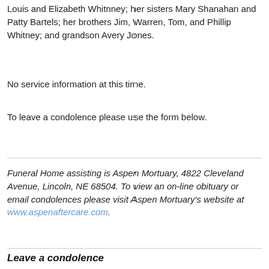Louis and Elizabeth Whitnney; her sisters Mary Shanahan and Patty Bartels; her brothers Jim, Warren, Tom, and Phillip Whitney; and grandson Avery Jones.
No service information at this time.
To leave a condolence please use the form below.
Funeral Home assisting is Aspen Mortuary, 4822 Cleveland Avenue, Lincoln, NE 68504. To view an on-line obituary or email condolences please visit Aspen Mortuary's website at www.aspenaftercare.com.
Leave a condolence